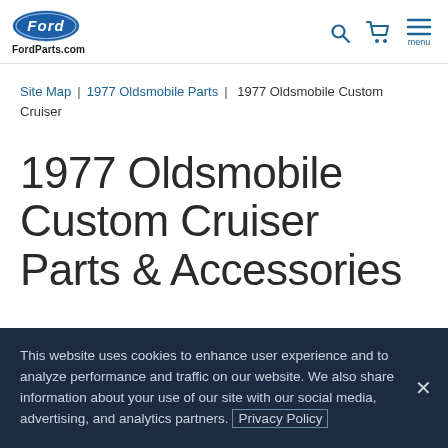FordParts.com
Site Map | 1977 Oldsmobile Parts | 1977 Oldsmobile Custom Cruiser
1977 Oldsmobile Custom Cruiser Parts & Accessories
This website uses cookies to enhance user experience and to analyze performance and traffic on our website. We also share information about your use of our site with our social media, advertising, and analytics partners. Privacy Policy